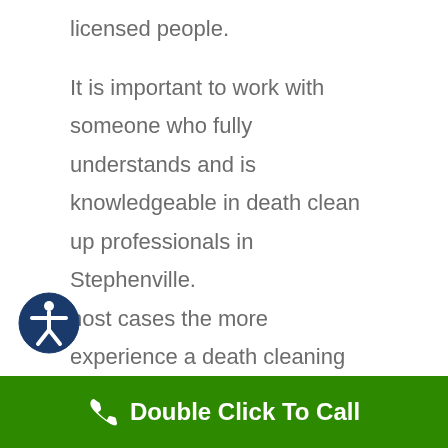licensed people.
It is important to work with someone who fully understands and is knowledgeable in death clean up professionals in Stephenville.
In most cases the more experience a death cleaning company is, the less expensive the cost is for the cleanup. The experience allows the cleaners to come in and begin immediate remediation. Knowing what to look for and
Double Click To Call